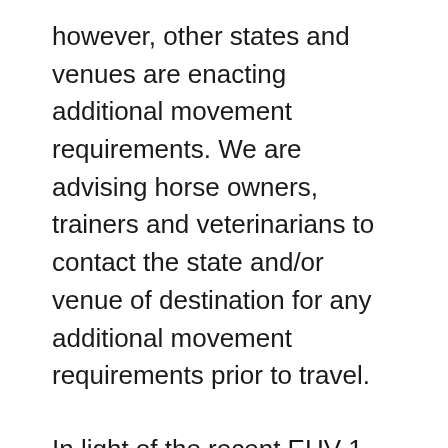however, other states and venues are enacting additional movement requirements. We are advising horse owners, trainers and veterinarians to contact the state and/or venue of destination for any additional movement requirements prior to travel.
In light of the recent EHV-1 outbreak in Europe, we are encouraging all facilities to isolate horses importing into Florida from the affected regions in Europe.
EHV-1 has been identified in numerous states over recent weeks. These cases have no known associations with the Florida cases, but some have